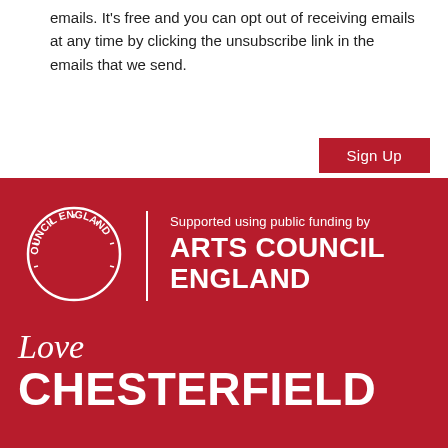emails. It’s free and you can opt out of receiving emails at any time by clicking the unsubscribe link in the emails that we send.
Sign Up
[Figure (logo): Arts Council England circular logo in white on red background with text arranged in a circle reading ARTS COUNCIL ENGLAND]
Supported using public funding by ARTS COUNCIL ENGLAND
Love CHESTERFIELD